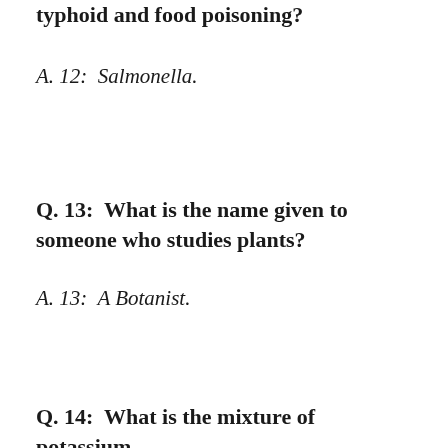Q. 12:  Which bacteria is responsible for typhoid and food poisoning?
A. 12:  Salmonella.
Q. 13:  What is the name given to someone who studies plants?
A. 13:  A Botanist.
Q. 14:  What is the mixture of potassium